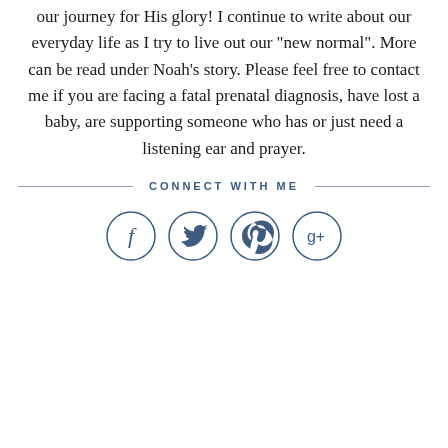our journey for His glory! I continue to write about our everyday life as I try to live out our "new normal". More can be read under Noah's story. Please feel free to contact me if you are facing a fatal prenatal diagnosis, have lost a baby, are supporting someone who has or just need a listening ear and prayer.
CONNECT WITH ME
[Figure (illustration): Four circular social media icons: Facebook (f), Twitter (bird), Pinterest (p), Google+ (g+), each in a circle outline with dark blue color.]